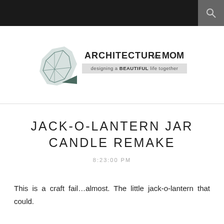Architecture of a Mom — blog header with navigation bar and search icon
[Figure (logo): Architecture of a Mom blog logo with geometric house illustration and tagline 'designing a BEAUTIFUL life together']
JACK-O-LANTERN JAR CANDLE REMAKE
8:23:00 PM
This is a craft fail…almost. The little jack-o-lantern that could.